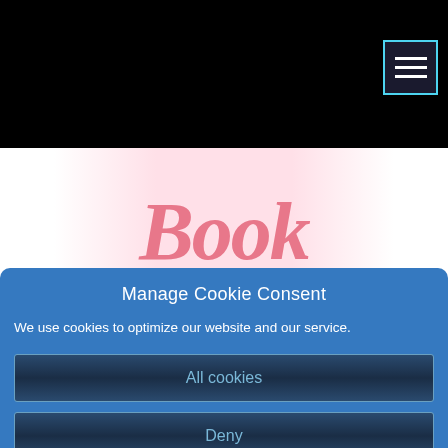[Figure (logo): Book Hooks logo with pink cursive/script text reading 'Book Hooks' on a light pink gradient background]
Manage Cookie Consent
We use cookies to optimize our website and our service.
All cookies
Deny
Cookie policy